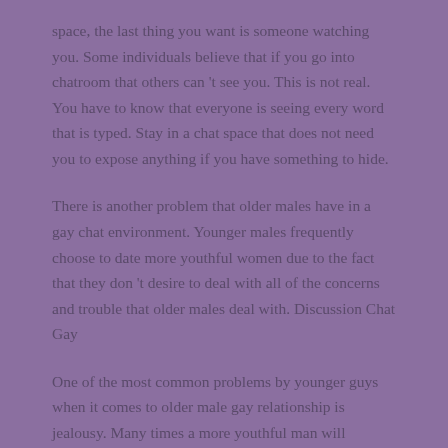space, the last thing you want is someone watching you. Some individuals believe that if you go into chatroom that others can 't see you. This is not real. You have to know that everyone is seeing every word that is typed. Stay in a chat space that does not need you to expose anything if you have something to hide.
There is another problem that older males have in a gay chat environment. Younger males frequently choose to date more youthful women due to the fact that they don 't desire to deal with all of the concerns and trouble that older males deal with. Discussion Chat Gay
One of the most common problems by younger guys when it comes to older male gay relationship is jealousy. Many times a more youthful man will approach an older gay individual and attempt to kiss them. Don 't let this occur because you wear 't desire to live your life as a gay fan.